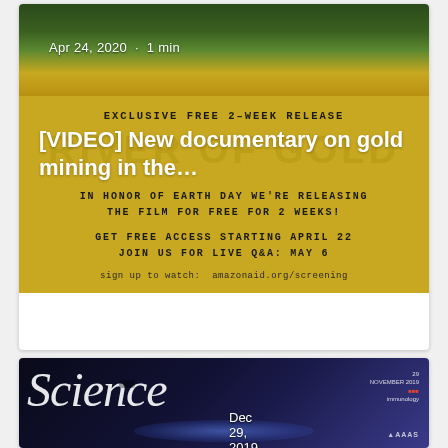[Figure (screenshot): Social media post card showing River of Gold documentary video. Top section shows a river/forest photo with date 'Apr 24, 2020 · 1 min'. Below is a gold-colored section with text: 'EXCLUSIVE FREE 2-WEEK RELEASE', 'RIVER OF GOLD' background text, overlay title '[VIDEO] New documentary on gold mining in the...', 'IN HONOR OF EARTH DAY WE'RE RELEASING THE FILM FOR FREE FOR 2 WEEKS!', 'GET FREE ACCESS STARTING APRIL 22 JOIN US FOR LIVE Q&A: MAY 6', 'sign up to watch: amazonaid.org/screening']
[Figure (screenshot): Social media post card showing Science magazine cover. Top section shows dark blue Science magazine cover with date 'Dec 29, 2019 · 1 min'. Bottom white bar shows article title '[ARTICLE] "Amazon']